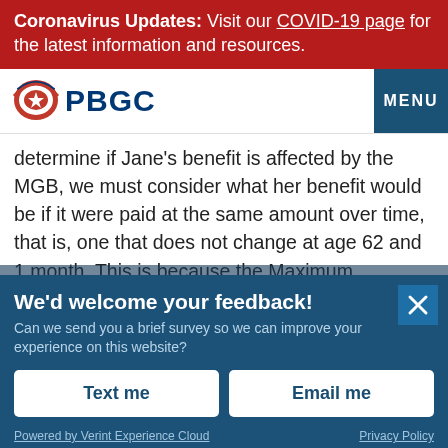Coronavirus Updates: Visit our COVID-19 page for the latest information and resources.
[Figure (logo): PBGC logo with arc shield icon and bold PBGC text, with MENU button on right]
determine if Jane's benefit is affected by the MGB, we must consider what her benefit would be if it were paid at the same amount over time, that is, one that does not change at age 62 and 1 month. This is because the Maximum Guaranteeable Benefit is defined by law in terms of a level, non-changing amount – so we need to
We'd welcome your feedback!
Can we send you a brief survey so we can improve your experience on this website?
Text me
Email me
Powered by Verint Experience Cloud    Privacy Policy